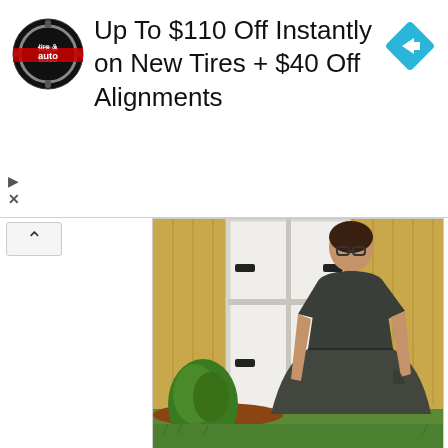[Figure (screenshot): Advertisement banner: Tire & Auto logo on left, text 'Up To $110 Off Instantly on New Tires + $40 Off Alignments', blue diamond navigation icon on right. Below the ad banner is a photo of a woman wearing a dark olive/charcoal short-sleeve V-neck dress standing outdoors in front of a tan wooden shed door with white trim. There is green shrubbery, red mulch, and grass visible.]